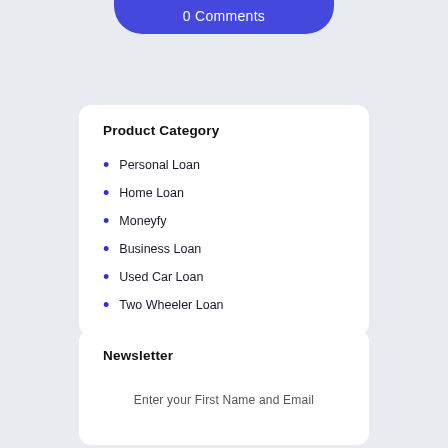0 Comments
Product Category
Personal Loan
Home Loan
Moneyfy
Business Loan
Used Car Loan
Two Wheeler Loan
Newsletter
Enter your First Name and Email